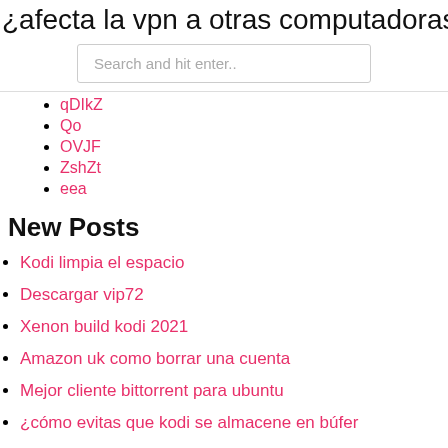¿afecta la vpn a otras computadoras
Search and hit enter..
qDIkZ
Qo
OVJF
ZshZt
eea
New Posts
Kodi limpia el espacio
Descargar vip72
Xenon build kodi 2021
Amazon uk como borrar una cuenta
Mejor cliente bittorrent para ubuntu
¿cómo evitas que kodi se almacene en búfer